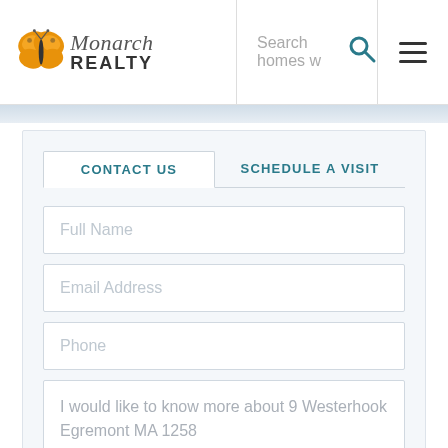Monarch Realty — Search homes — Navigation
CONTACT US
SCHEDULE A VISIT
Full Name
Email Address
Phone
I would like to know more about 9 Westerhook Egremont MA 1258